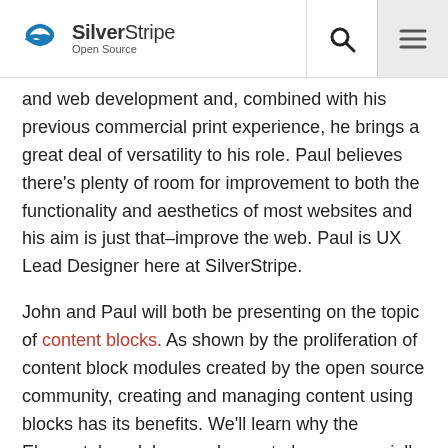SilverStripe Open Source
and web development and, combined with his previous commercial print experience, he brings a great deal of versatility to his role. Paul believes there's plenty of room for improvement to both the functionality and aesthetics of most websites and his aim is just that–improve the web. Paul is UX Lead Designer here at SilverStripe.
John and Paul will both be presenting on the topic of content blocks. As shown by the proliferation of content block modules created by the open source community, creating and managing content using blocks has its benefits. We'll learn why the Elemental module was chosen to be commercially